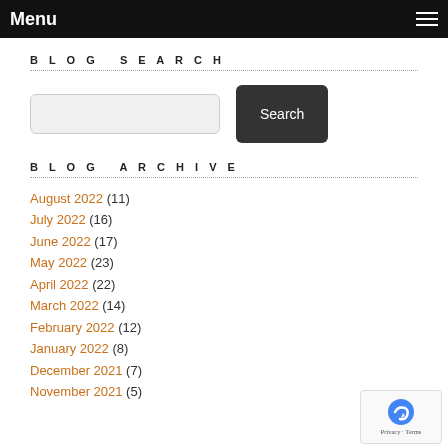Menu
BLOG SEARCH
BLOG ARCHIVE
August 2022 (11)
July 2022 (16)
June 2022 (17)
May 2022 (23)
April 2022 (22)
March 2022 (14)
February 2022 (12)
January 2022 (8)
December 2021 (7)
November 2021 (5)